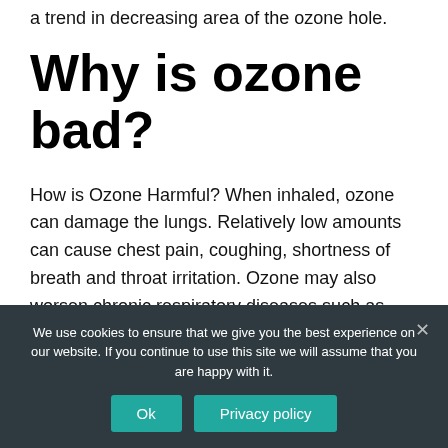a trend in decreasing area of the ozone hole.
Why is ozone bad?
How is Ozone Harmful? When inhaled, ozone can damage the lungs. Relatively low amounts can cause chest pain, coughing, shortness of breath and throat irritation. Ozone may also worsen chronic respiratory diseases such as asthma and compromise the ability of the body to fight respiratory
We use cookies to ensure that we give you the best experience on our website. If you continue to use this site we will assume that you are happy with it.